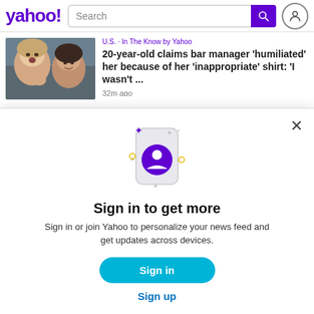yahoo! [Search bar] [Search button] [User icon]
[Figure (screenshot): Two young women in a selfie video, one pointing at the camera, outdoors near a building]
U.S. · In The Know by Yahoo
20-year-old claims bar manager 'humiliated' her because of her 'inappropriate' shirt: 'I wasn't ...
32m ago
[Figure (illustration): Modal dialog illustration: phone outline with purple user/account circle icon in center, decorative sparkle dots and small circles around it]
Sign in to get more
Sign in or join Yahoo to personalize your news feed and get updates across devices.
Sign in
Sign up